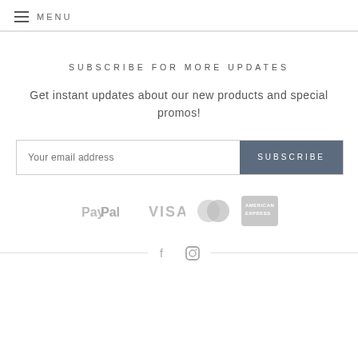MENU
SUBSCRIBE FOR MORE UPDATES
Get instant updates about our new products and special promos!
[Figure (other): Email subscription form with 'Your email address' input field and 'SUBSCRIBE' button]
[Figure (other): Payment logos: PayPal, VISA, MasterCard, American Express]
[Figure (other): Social media icons: Facebook and Instagram, flanked by horizontal lines]